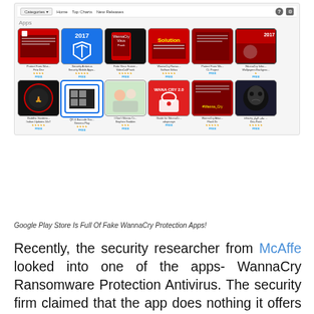[Figure (screenshot): Google Play Store screenshot showing apps section with fake WannaCry protection apps in a grid layout. Two rows of 6 apps each, all rated with stars and labeled FREE. Apps include: Protect From WannaCry (Firio Dev), Security Antivirus (Security Mobile Apps), Fake Virus Screen - VideoCallPrank, WannaCry Ransomware (Safham Ikhlas), Protect From WannaCry (CL Project), WannaCry Infection Wallpapers Background, Buddha Vandana (Indian Updates 24x7), QR & Barcode Scanner (Gemma Play), I Don't Wanna Cry (Stephen Godden), Guide for WannaCry (xdopranye), WannaCry Attack Flash Dc, Inhacty (Dev-Point).]
Google Play Store Is Full Of Fake WannaCry Protection Apps!
Recently, the security researcher from McAffe looked into one of the apps- WannaCry Ransomware Protection Antivirus. The security firm claimed that the app does nothing it offers false features and tricks users into downloading